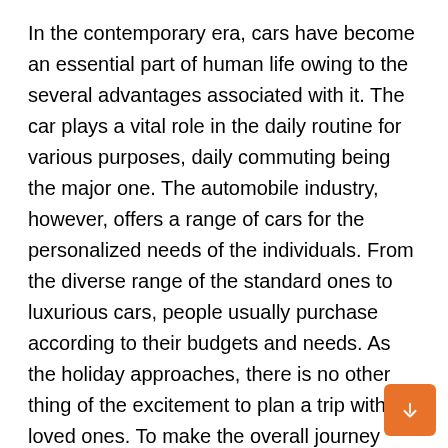In the contemporary era, cars have become an essential part of human life owing to the several advantages associated with it. The car plays a vital role in the daily routine for various purposes, daily commuting being the major one. The automobile industry, however, offers a range of cars for the personalized needs of the individuals. From the diverse range of the standard ones to luxurious cars, people usually purchase according to their budgets and needs. As the holiday approaches, there is no other thing of the excitement to plan a trip with the loved ones. To make the overall journey safe and more excited, there is a need for the car in order to commute to the destination and to enjoy the local places of interests.